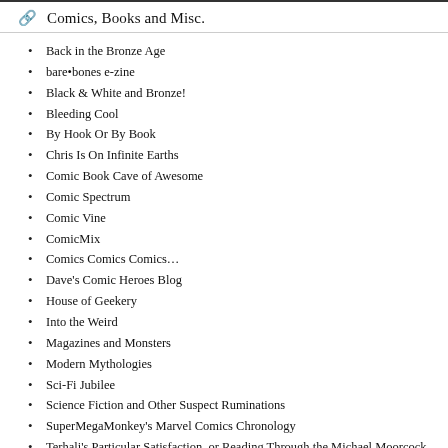Comics, Books and Misc.
Back in the Bronze Age
bare•bones e-zine
Black & White and Bronze!
Bleeding Cool
By Hook Or By Book
Chris Is On Infinite Earths
Comic Book Cave of Awesome
Comic Spectrum
Comic Vine
ComicMix
Comics Comics Comics…
Dave's Comic Heroes Blog
House of Geekery
Into the Weird
Magazines and Monsters
Modern Mythologies
Sci-Fi Jubilee
Science Fiction and Other Suspect Ruminations
SuperMegaMonkey's Marvel Comics Chronology
Terhali's Particular Satisfaction, or Reading Through the Michael Moorcock Multiverse
The Beat
The Books That Time Forgot
The Something Something